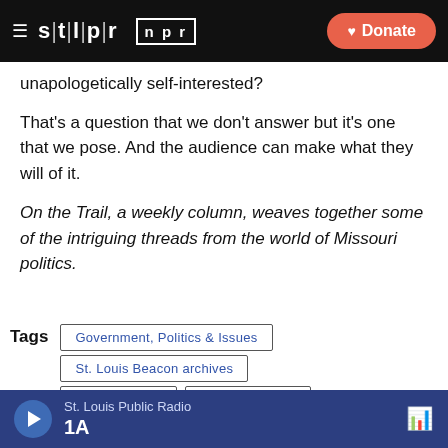STLPR | NPR — Donate
unapologetically self-interested?
That's a question that we don't answer but it's one that we pose. And the audience can make what they will of it.
On the Trail, a weekly column, weaves together some of the intriguing threads from the world of Missouri politics.
Tags  Government, Politics & Issues  St. Louis Beacon archives  Beau Willimon  John Burroughs
St. Louis Public Radio  1A